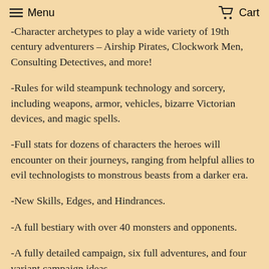Menu  Cart
-Character archetypes to play a wide variety of 19th century adventurers – Airship Pirates, Clockwork Men, Consulting Detectives, and more!
-Rules for wild steampunk technology and sorcery, including weapons, armor, vehicles, bizarre Victorian devices, and magic spells.
-Full stats for dozens of characters the heroes will encounter on their journeys, ranging from helpful allies to evil technologists to monstrous beasts from a darker era.
-New Skills, Edges, and Hindrances.
-A full bestiary with over 40 monsters and opponents.
-A fully detailed campaign, six full adventures, and four variant campaign ideas.